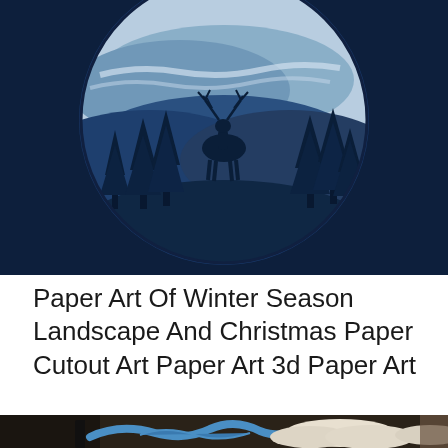[Figure (illustration): Paper art illustration of a winter scene inside a circular frame. A dark navy blue background with a deer/stag silhouette standing on a hill surrounded by pine trees, with layered paper-cut mountains and a light blue circular window showing a misty blue sky scene.]
Paper Art Of Winter Season Landscape And Christmas Paper Cutout Art Paper Art 3d Paper Art
[Figure (photo): Partially visible photo at bottom of page showing paper art with blue wave/river shapes and white fluffy cloud-like paper forms, with dark silhouette shapes at left edge.]